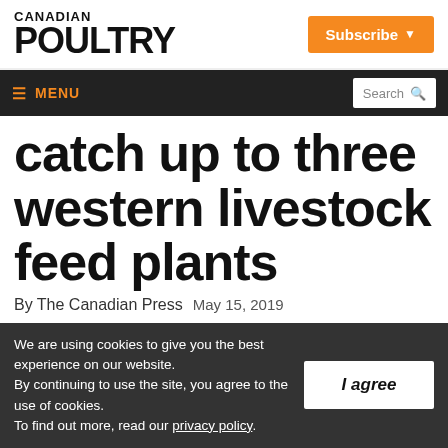CANADIAN POULTRY
Subscribe
≡ MENU | Search
catch up to three western livestock feed plants
By The Canadian Press  May 15, 2019
We are using cookies to give you the best experience on our website. By continuing to use the site, you agree to the use of cookies. To find out more, read our privacy policy.